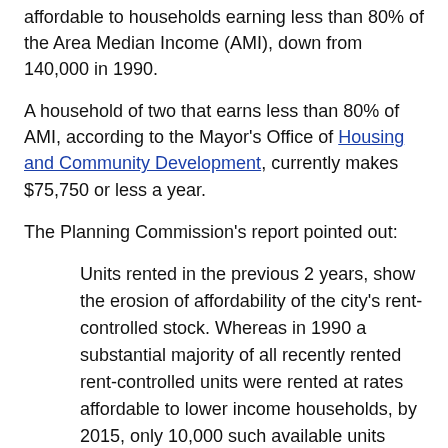affordable to households earning less than 80% of the Area Median Income (AMI), down from 140,000 in 1990.
A household of two that earns less than 80% of AMI, according to the Mayor's Office of Housing and Community Development, currently makes $75,750 or less a year.
The Planning Commission's report pointed out:
Units rented in the previous 2 years, show the erosion of affordability of the city's rent-controlled stock. Whereas in 1990 a substantial majority of all recently rented rent-controlled units were rented at rates affordable to lower income households, by 2015, only 10,000 such available units were affordable to those households.
9% of households live in about 33,000 affordable housing units, where rents and sale prices are set so that they're